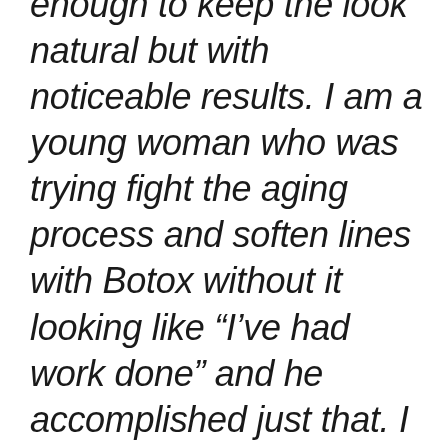enough to keep the look natural but with noticeable results. I am a young woman who was trying fight the aging process and soften lines with Botox without it looking like “I’ve had work done” and he accomplished just that. I encourage anyone looking for someone they can trust with quality skill to give him a try. You will not